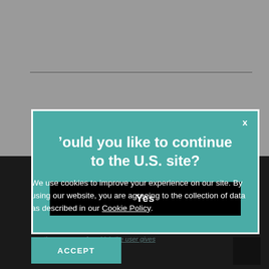[Figure (screenshot): Gray background page with a horizontal rule at top]
’ould you like to continue to the U.S. site?
Yes
No, I would like to stay on the current site.
We use cookies to improve your experience on our site. By using our website, you are agreeing to the collection of data as described in our Cookie Policy.
ACCEPT